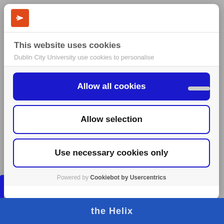[Figure (logo): DCU (Dublin City University) orange square logo with white arrow]
This website uses cookies
Dublin City University use cookies to personalise
Allow all cookies
Allow selection
Use necessary cookies only
Powered by Cookiebot by Usercentrics